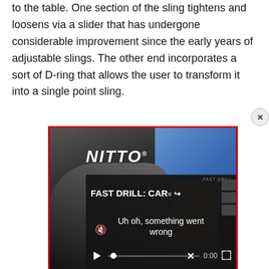to the table. One section of the sling tightens and loosens via a slider that has undergone considerable improvement since the early years of adjustable slings. The other end incorporates a sort of D-ring that allows the user to transform it into a single point sling.
[Figure (screenshot): A NITTO brand advertisement image showing a close-up of a tire/vehicle with blue sky background, overlaid with a video player showing 'FAST DRILL: CAR—' title and an error message 'Uh oh, something went wrong' with playback controls showing 0:00 timestamp. A close/X button appears at top right of the video overlay.]